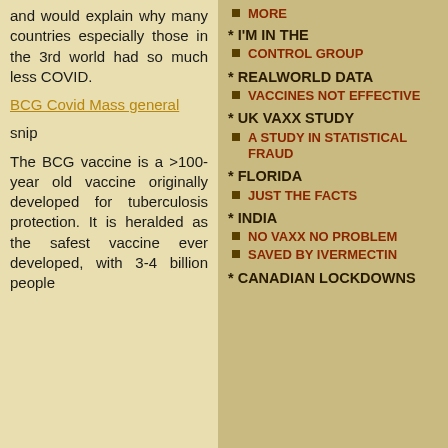and would explain why many countries especially those in the 3rd world had so much less COVID.
BCG Covid Mass general
snip
The BCG vaccine is a >100-year old vaccine originally developed for tuberculosis protection. It is heralded as the safest vaccine ever developed, with 3-4 billion people
MORE
* I'M IN THE
CONTROL GROUP
* REALWORLD DATA
VACCINES NOT EFFECTIVE
* UK VAXX STUDY
A STUDY IN STATISTICAL FRAUD
* FLORIDA
JUST THE FACTS
* INDIA
NO VAXX NO PROBLEM
SAVED BY IVERMECTIN
* CANADIAN LOCKDOWNS